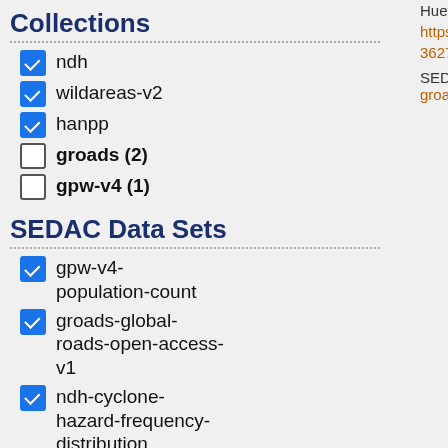Collections
ndh (checked)
wildareas-v2 (checked)
hanpp (checked)
groads (2) (unchecked)
gpw-v4 (1) (unchecked)
SEDAC Data Sets
gpw-v4-population-count (checked)
groads-global-roads-open-access-v1 (checked)
ndh-cyclone-hazard-frequency-distribution (checked)
gpw-v4-population-density-rev10 (checked)
Huettmann, Falk. pp: 521-563 DOI: https://d...36275-1_26
SEDAC Data Collection(s): • gpw-v4 • groads • wil...